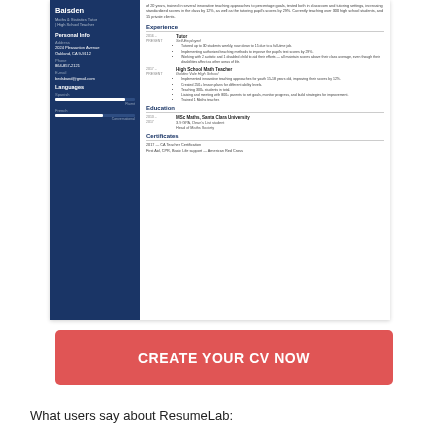[Figure (illustration): A resume/CV sample for a Maths & Statistics Tutor / High School Teacher named Baisden, showing sidebar with personal info and languages, and right column with experience, education, and certificates sections.]
CREATE YOUR CV NOW
What users say about ResumeLab: